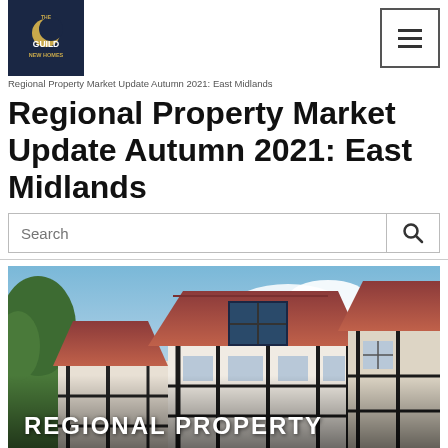[Figure (logo): The Guild New Homes logo — dark navy square with gold crescent moon and white text]
Regional Property Market Update Autumn 2021: East Midlands
Regional Property Market Update Autumn 2021: East Midlands
Search
[Figure (photo): Exterior photo of a Tudor-style house with terracotta roof tiles, dark timber framing, white render, and multi-pane windows under a partly cloudy sky with trees visible. Overlaid text reads REGIONAL PROPERTY at the bottom.]